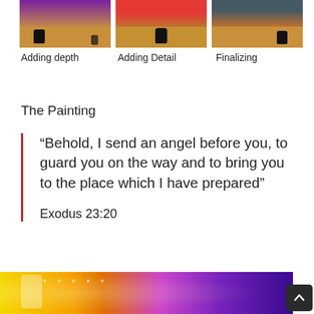[Figure (photo): Three painting process photos showing wooden shelves with art and chess pieces: Adding depth, Adding Detail, Finalizing]
Adding depth
Adding Detail
Finalizing
The Painting
“Behold, I send an angel before you, to guard you on the way and to bring you to the place which I have prepared”

Exodus 23:20
[Figure (photo): Bottom portion of a colorful angel painting with yellow, orange, and purple hues with sparkle effects]